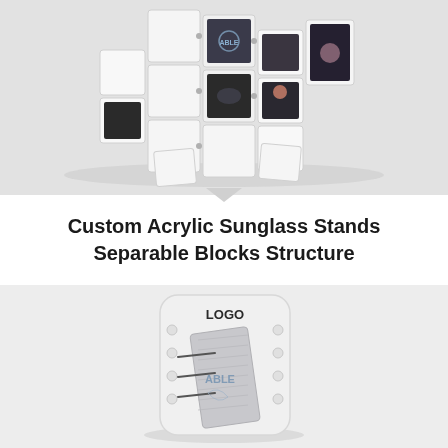[Figure (photo): Product photo of custom acrylic sunglass stands arranged as separable block structures on a light gray background. Multiple white and transparent acrylic boxes/cubes stacked in various configurations, with some featuring printed imagery of people wearing sunglasses. A circular logo is visible on one of the central blocks.]
Custom Acrylic Sunglass Stands Separable Blocks Structure
[Figure (photo): Product photo of an acrylic sunglass display stand on a light gray background. The stand features a rounded rectangular white/light gray backing panel with 'LOGO' text at the top, and a brushed metal or acrylic holder in the center with wire arms to hold sunglasses. An ABLE logo is visible on the display. The stand has circular holes along the sides of the backing panel.]